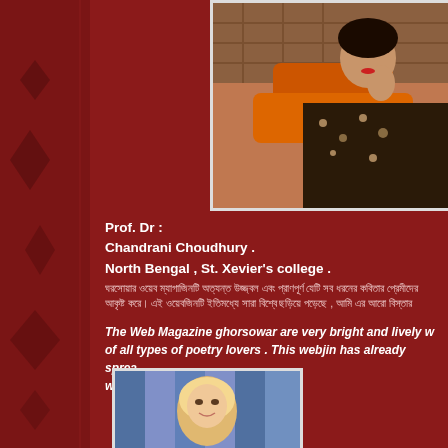[Figure (photo): Portrait of a woman in a floral dress, leaning on her hand, with orange cushions and rattan background]
Prof. Dr :
Chandrani Choudhury .
North Bengal , St. Xevier's college .
[Bengali text about ghorsowar web magazine]
The  Web Magazine ghorsowar are very bright and lively which attracts all types of poetry lovers . This webjin has already spread across the world, I wish this spread more.
[Figure (photo): Portrait of a woman with blonde hair in front of blue curtains]